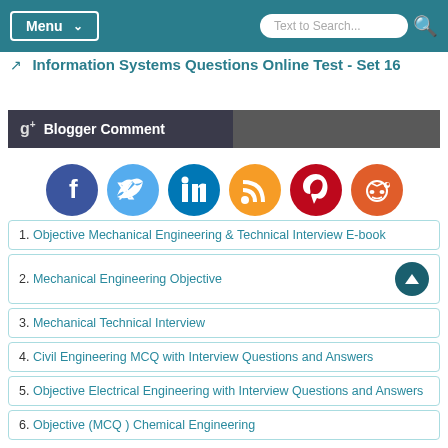Menu  |  Text to Search...
Information Systems Questions Online Test - Set 16
g+  Blogger Comment
[Figure (infographic): Row of social media icons: Facebook (dark blue), Twitter (light blue), LinkedIn (teal), RSS (orange), Pinterest (dark red/maroon), Reddit (orange-red)]
1. Objective Mechanical Engineering & Technical Interview E-book
2. Mechanical Engineering Objective
3. Mechanical Technical Interview
4. Civil Engineering MCQ with Interview Questions and Answers
5. Objective Electrical Engineering with Interview Questions and Answers
6. Objective (MCQ ) Chemical Engineering